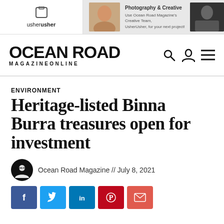[Figure (screenshot): Banner advertisement for UsherUsher photography and creative services with logo on left and promotional text/photos on right]
OCEAN ROAD MAGAZINEONLINE
ENVIRONMENT
Heritage-listed Binna Burra treasures open for investment
Ocean Road Magazine // July 8, 2021
[Figure (infographic): Social share buttons: Facebook, Twitter, LinkedIn, Pinterest, Email]